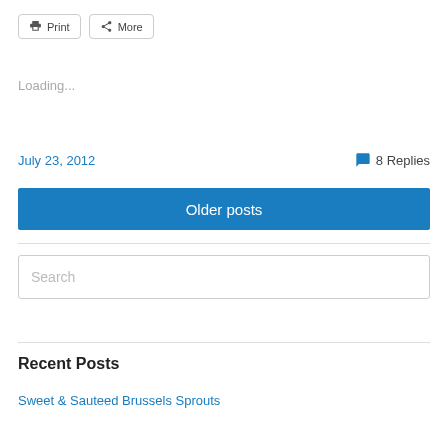[Figure (screenshot): Print and More buttons at top]
Loading...
July 23, 2012   8 Replies
Older posts
Search
Recent Posts
Sweet & Sauteed Brussels Sprouts